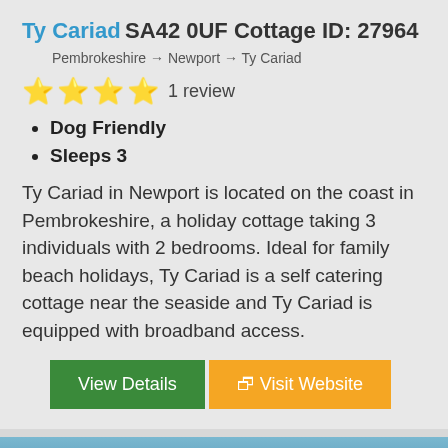Ty Cariad SA42 0UF Cottage ID: 27964
Pembrokeshire → Newport → Ty Cariad
[Figure (other): 4 gold stars rating display]
1 review
Dog Friendly
Sleeps 3
Ty Cariad in Newport is located on the coast in Pembrokeshire, a holiday cottage taking 3 individuals with 2 bedrooms. Ideal for family beach holidays, Ty Cariad is a self catering cottage near the seaside and Ty Cariad is equipped with broadband access.
View Details | Visit Website